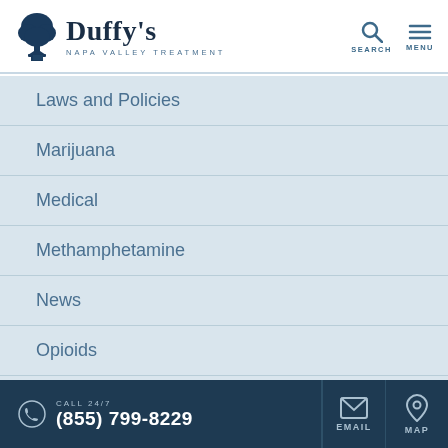Duffy's Napa Valley Treatment - SEARCH MENU
Laws and Policies
Marijuana
Medical
Methamphetamine
News
Opioids
Prescription Drugs
Recovery
CALL 24/7 (855) 799-8229  EMAIL  MAP